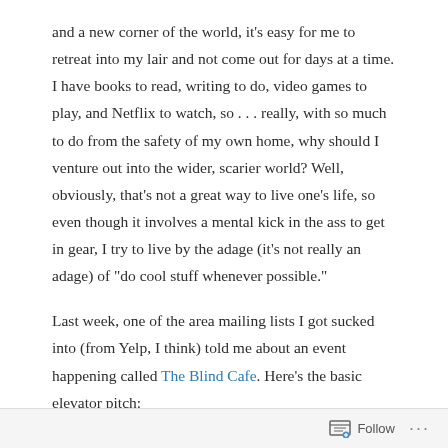and a new corner of the world, it's easy for me to retreat into my lair and not come out for days at a time. I have books to read, writing to do, video games to play, and Netflix to watch, so . . . really, with so much to do from the safety of my own home, why should I venture out into the wider, scarier world? Well, obviously, that's not a great way to live one's life, so even though it involves a mental kick in the ass to get in gear, I try to live by the adage (it's not really an adage) of “do cool stuff whenever possible.”
Last week, one of the area mailing lists I got sucked into (from Yelp, I think) told me about an event happening called The Blind Cafe. Here’s the basic elevator pitch:
Follow ...